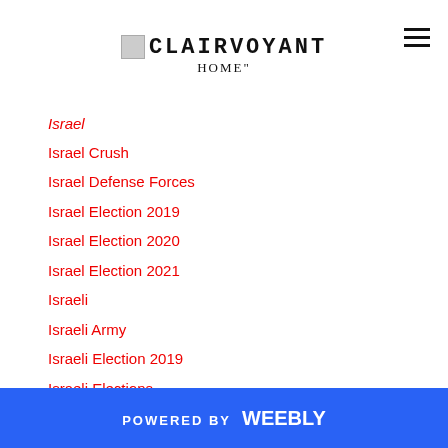CLAIRVOYANT
Israel
Israel Crush
Israel Defense Forces
Israel Election 2019
Israel Election 2020
Israel Election 2021
Israeli
Israeli Army
Israeli Election 2019
Israeli Elections
Israeli Politics
Israeli Prime Minister
Israelis
Israelite
Israel's Election
POWERED BY weebly